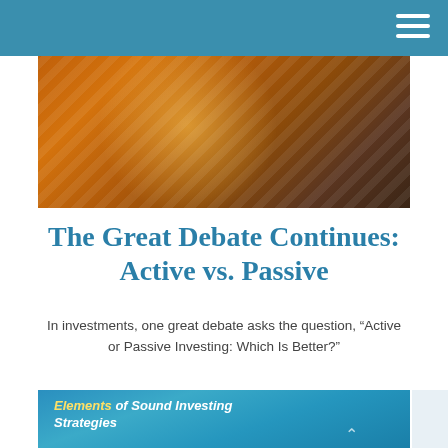[Figure (photo): Header photograph with orange/amber warm tones showing sunlit fabric or clothing, serving as a banner image for an article about active vs. passive investing.]
The Great Debate Continues: Active vs. Passive
In investments, one great debate asks the question, “Active or Passive Investing: Which Is Better?”
[Figure (photo): Partial view of a booklet or brochure titled 'Elements of Sound Investing Strategies' in teal/blue colors with circular portrait photos of smiling people.]